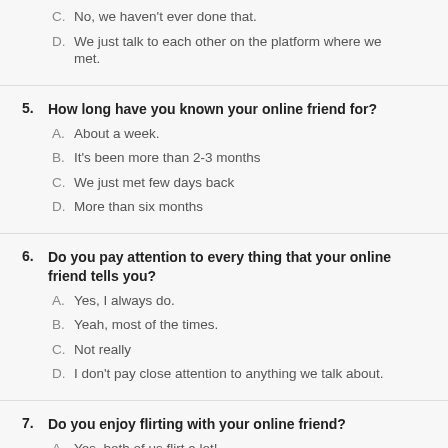C. No, we haven't ever done that.
D. We just talk to each other on the platform where we met.
5. How long have you known your online friend for?
A. About a week.
B. It's been more than 2-3 months
C. We just met few days back
D. More than six months
6. Do you pay attention to every thing that your online friend tells you?
A. Yes, I always do.
B. Yeah, most of the times.
C. Not really
D. I don't pay close attention to anything we talk about.
7. Do you enjoy flirting with your online friend?
A. Yes, both of us flirt a lot!